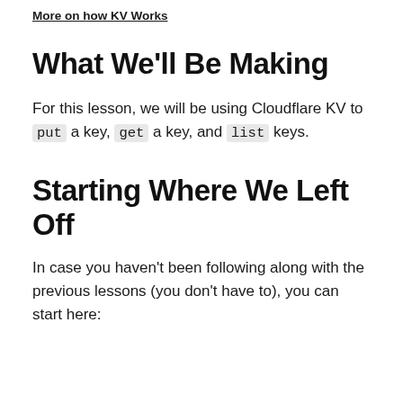More on how KV Works
What We'll Be Making
For this lesson, we will be using Cloudflare KV to put a key, get a key, and list keys.
Starting Where We Left Off
In case you haven't been following along with the previous lessons (you don't have to), you can start here: